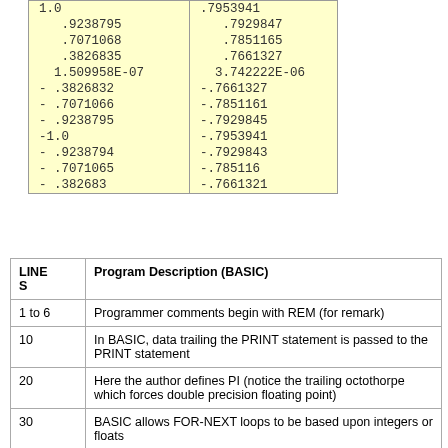| col1 | col2 |
| --- | --- |
| 1.0 | .7953941 |
| .9238795 | .7929847 |
| .7071068 | .7851165 |
| .3826835 | .7661327 |
| 1.509958E-07 | 3.742222E-06 |
| - .3826832 | -.7661327 |
| - .7071066 | -.7851161 |
| - .9238795 | -.7929845 |
| -1.0 | -.7953941 |
| - .9238794 | -.7929843 |
| - .7071065 | -.785116 |
| - .382683 | -.7661321 |
| LINES | Program Description (BASIC) |
| --- | --- |
| 1 to 6 | Programmer comments begin with REM (for remark) |
| 10 | In BASIC, data trailing the PRINT statement is passed to the PRINT statement |
| 20 | Here the author defines PI (notice the trailing octothorpe which forces double precision floating point) |
| 30 | BASIC allows FOR-NEXT loops to be based upon integers or floats |